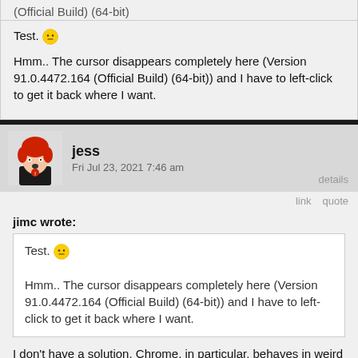(Official Build) (64-bit)
Test. 😐
Hmm.. The cursor disappears completely here (Version 91.0.4472.164 (Official Build) (64-bit)) and I have to left-click to get it back where I want.
jess
Fri Jul 23, 2021 7:46 am
details
link   quote
jimc wrote:
Test. 😐

Hmm.. The cursor disappears completely here (Version 91.0.4472.164 (Official Build) (64-bit)) and I have to left-click to get it back where I want.
I don't have a solution. Chrome, in particular, behaves in weird ways, and I don't have the capacity to understand it or test it.